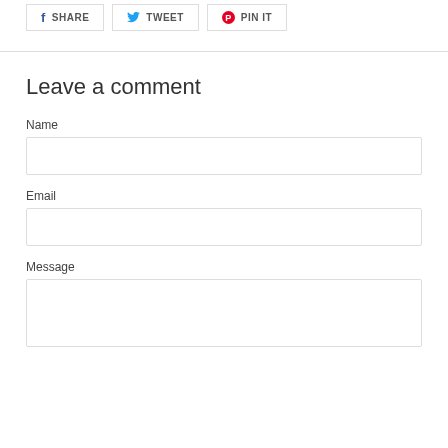[Figure (other): Social share buttons: Facebook SHARE, Twitter TWEET, Pinterest PIN IT]
Leave a comment
Name
Email
Message